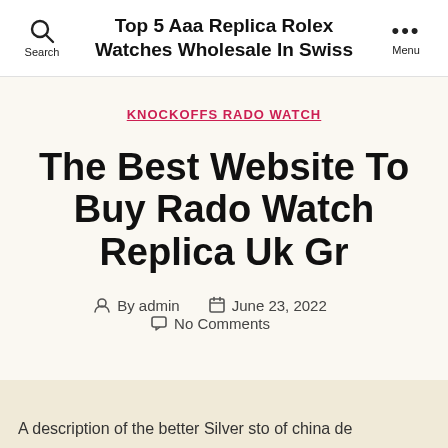Top 5 Aaa Replica Rolex Watches Wholesale In Swiss
KNOCKOFFS RADO WATCH
The Best Website To Buy Rado Watch Replica Uk Gr
By admin   June 23, 2022   No Comments
A description of the better Silver sto of china de...